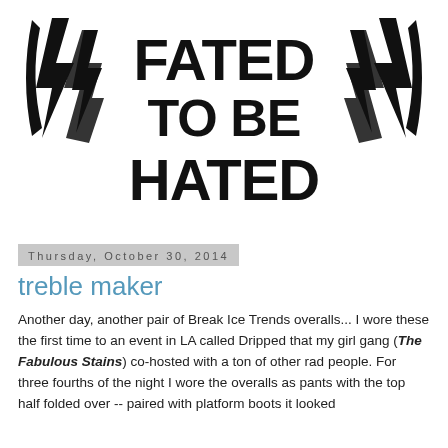[Figure (logo): Hand-drawn logo reading 'FATED TO BE HATED' in bold brush lettering, flanked by lightning bolt shapes on each side]
Thursday, October 30, 2014
treble maker
Another day, another pair of Break Ice Trends overalls... I wore these the first time to an event in LA called Dripped that my girl gang (The Fabulous Stains) co-hosted with a ton of other rad people. For three fourths of the night I wore the overalls as pants with the top half folded over -- paired with platform boots it looked